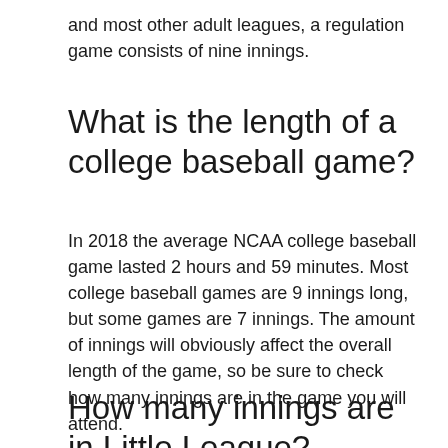and most other adult leagues, a regulation game consists of nine innings.
What is the length of a college baseball game?
In 2018 the average NCAA college baseball game lasted 2 hours and 59 minutes. Most college baseball games are 9 innings long, but some games are 7 innings. The amount of innings will obviously affect the overall length of the game, so be sure to check how many innings are in the game you will attend.
How many innings are in Little League?